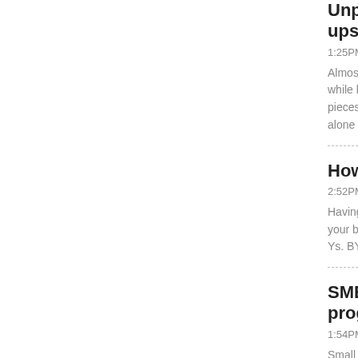Unpromising start-ups
1:25PM | Tuesday,
Almost a quarter while hiring inter pieces of new re alone in 2013.
How to attra
2:52PM | Friday, 1
Having grown up your business. H Ys. BY ADAM F
SMEs offere program
1:54PM | Monday,
Small businesses February 28 to t program, which a new apprentic